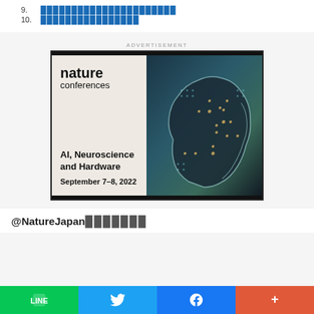9. ██████████████████████
10. ████████████████
[Figure (infographic): Nature Conferences advertisement banner for 'AI, Neuroscience and Hardware' conference, September 7-8, 2022. Left side has nature conferences logo and event details on beige background. Right side has artistic image of human head silhouette with circuit board patterns in teal/gold colors.]
@NatureJapan███████